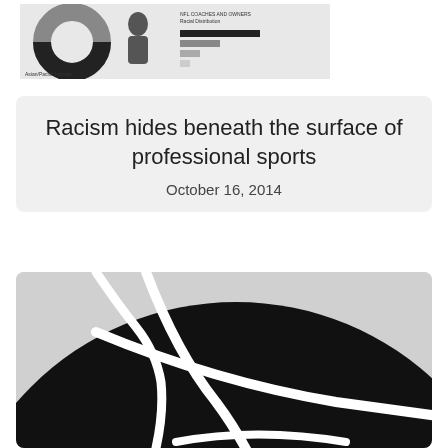[Figure (infographic): A small horizontal bar chart or infographic showing NBA/NFL coaches and owners racial distribution, partially visible at the top of the page]
Racism hides beneath the surface of professional sports
October 16, 2014
[Figure (illustration): Close-up of a black and white basketball, cropped showing the curved seams against a light grey background]